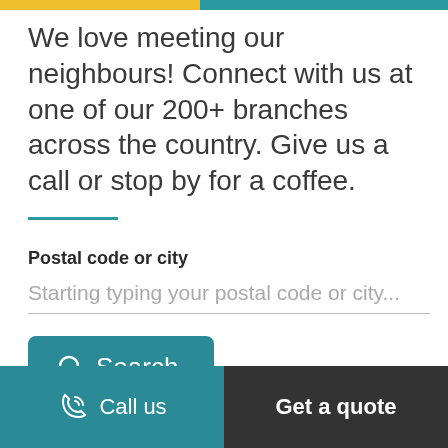We love meeting our neighbours! Connect with us at one of our 200+ branches across the country. Give us a call or stop by for a coffee.
Postal code or city
Starting typing your postal code or city...
[Figure (other): Search button with magnifying glass icon and text 'Search']
Call us
Get a quote